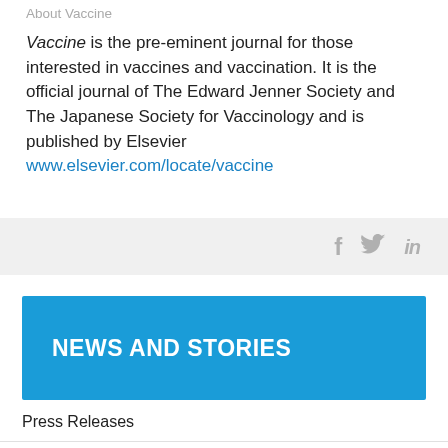About Vaccine
Vaccine is the pre-eminent journal for those interested in vaccines and vaccination. It is the official journal of The Edward Jenner Society and The Japanese Society for Vaccinology and is published by Elsevier www.elsevier.com/locate/vaccine
[Figure (other): Social media icons: Facebook (f), Twitter (bird), LinkedIn (in) on a light grey bar]
NEWS AND STORIES
Press Releases